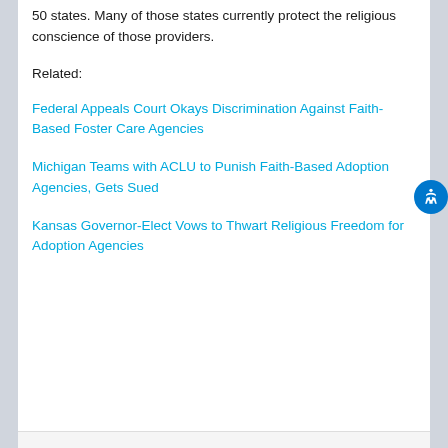50 states. Many of those states currently protect the religious conscience of those providers.
Related:
Federal Appeals Court Okays Discrimination Against Faith-Based Foster Care Agencies
Michigan Teams with ACLU to Punish Faith-Based Adoption Agencies, Gets Sued
Kansas Governor-Elect Vows to Thwart Religious Freedom for Adoption Agencies